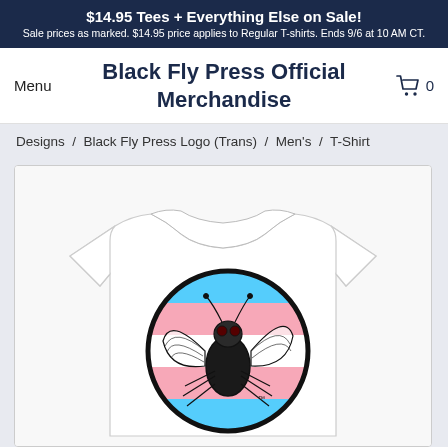$14.95 Tees + Everything Else on Sale! Sale prices as marked. $14.95 price applies to Regular T-shirts. Ends 9/6 at 10 AM CT.
Black Fly Press Official Merchandise
Menu
0
Designs / Black Fly Press Logo (Trans) / Men's / T-Shirt
[Figure (photo): White t-shirt with a circular logo featuring a black fly illustration over a transgender pride flag (blue, pink, white stripes) background.]